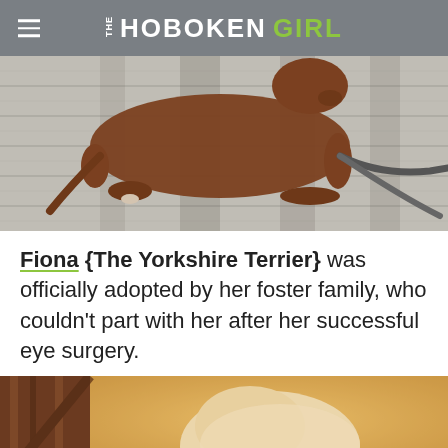THE HOBOKEN GIRL
[Figure (photo): Overhead view of a brown dog lying on a grey wooden deck with a leash, sunlight casting shadows]
Fiona {The Yorkshire Terrier} was officially adopted by her foster family, who couldn't part with her after her successful eye surgery.
[Figure (photo): Close-up photo of a fluffy light-colored dog near wooden structure with warm golden light]